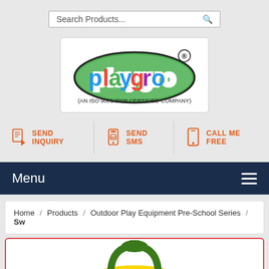[Figure (screenshot): Search bar with 'Search Products...' placeholder text and magnifying glass icon]
[Figure (logo): Playgro logo with colorful text on green banner shape, with '(AN ISO 9001:2008 CERTIFIED COMPANY)' below and registered trademark symbol]
SEND INQUIRY | SEND SMS | CALL ME FREE
Menu
Home / Products / Outdoor Play Equipment Pre-School Series / Sw
[Figure (photo): Partial product image showing yellow and green colored outdoor play equipment]